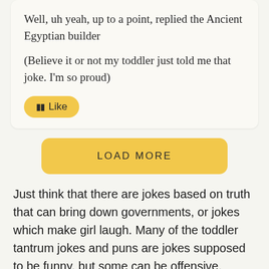Well, uh yeah, up to a point, replied the Ancient Egyptian builder
(Believe it or not my toddler just told me that joke. I'm so proud)
🟡  Like
LOAD MORE
Just think that there are jokes based on truth that can bring down governments, or jokes which make girl laugh. Many of the toddler tantrum jokes and puns are jokes supposed to be funny, but some can be offensive. When jokes go too far, are mean